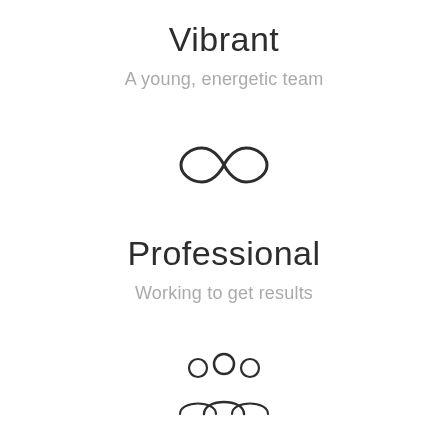Vibrant
A young, energetic team
[Figure (illustration): Infinity symbol icon, thin outline style]
Professional
Working to get results
[Figure (illustration): Group of three people/team icon, thin outline style]